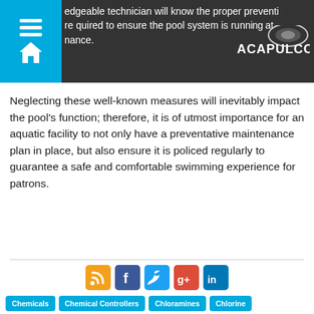edgeable technician will know the proper preventative maintenance required to ensure the pool system is running at peak performance.
Neglecting these well-known measures will inevitably impact the pool’s function; therefore, it is of utmost importance for an aquatic facility to not only have a preventative maintenance plan in place, but also ensure it is policed regularly to guarantee a safe and comfortable swimming experience for patrons.
[Figure (other): Social media share icons: RSS feed (orange), Facebook (blue), Twitter (blue), Google+ (multicolor), LinkedIn (blue)]
Chemicals
Chemical Controllers
Chloramines
Chlorine
Filters
Filter Media
Health Code
Health Inspections
pH
Pool Filtration
Pool Operators
Sand
Service
Tips
Total Alkalinity
Ultra Violet (UV)
Water Chemistry
Aquatic Trends: Pool Accessories
POSTED BY GREG KELLER ON WEDNESDAY MARCH 19, 2020